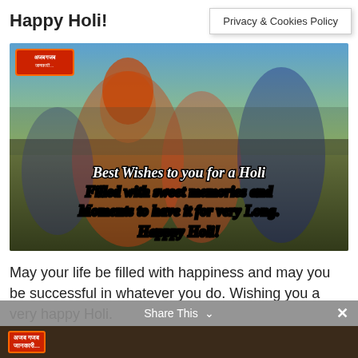Happy Holi!
Privacy & Cookies Policy
[Figure (photo): Group of people celebrating Holi festival with colored powder, a woman with red hair in foreground, overlaid with italic white text: Best Wishes to you for a Holi Filled with sweet memories and Moments to have it for very Long. Happpy Holi!]
May your life be filled with happiness and may you be successful in whatever you do. Wishing you a very happy Holi.
Share This ∨